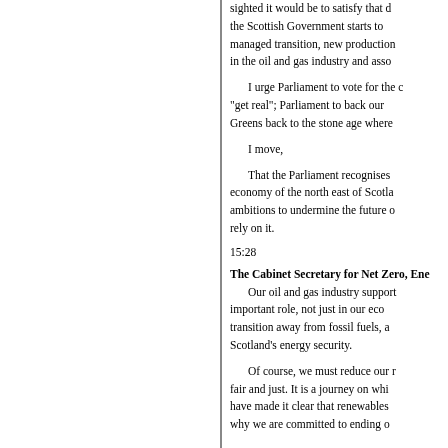sighted it would be to satisfy that d... the Scottish Government starts to... managed transition, new production... in the oil and gas industry and asso...
I urge Parliament to vote for the c... "get real"; Parliament to back our... Greens back to the stone age where...
I move,
That the Parliament recognises... economy of the north east of Scotla... ambitions to undermine the future c... rely on it.
15:28
The Cabinet Secretary for Net Zero, Ene... Our oil and gas industry support... important role, not just in our eco... transition away from fossil fuels, a... Scotland's energy security.
Of course, we must reduce our r... fair and just. It is a journey on whi... have made it clear that renewables... why we are committed to ending o...